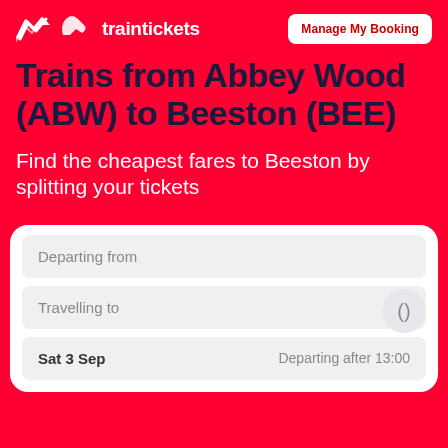traintickets | Manage My Booking
Trains from Abbey Wood (ABW) to Beeston (BEE)
Find the cheapest fares to Beeston by splitting your tickets
Departing from
Travelling to
Sat 3 Sep    Departing after 13:00